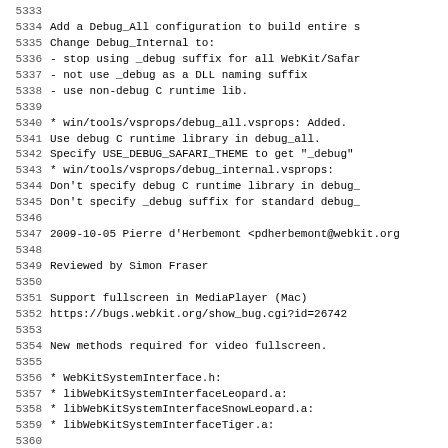5333-5365 Source code changelog/log lines from WebKit repository
5333 (blank)
5334     Add a Debug_All configuration to build entire s
5335     Change Debug_Internal to:
5336     - stop using _debug suffix for all WebKit/Safar
5337     - not use _debug as a DLL naming suffix
5338     - use non-debug C runtime lib.
5339 (blank)
5340     * win/tools/vsprops/debug_all.vsprops: Added.
5341     Use debug C runtime library in debug_all.
5342     Specify USE_DEBUG_SAFARI_THEME to get "_debug"
5343     * win/tools/vsprops/debug_internal.vsprops:
5344     Don't specify debug C runtime library in debug_
5345     Don't specify _debug suffix for standard debug_
5346 (blank)
5347 2009-10-05  Pierre d'Herbemont  <pdherbemont@webkit.org
5348 (blank)
5349         Reviewed by Simon Fraser
5350 (blank)
5351         Support fullscreen in MediaPlayer (Mac)
5352         https://bugs.webkit.org/show_bug.cgi?id=26742
5353 (blank)
5354         New methods required for video fullscreen.
5355 (blank)
5356         * WebKitSystemInterface.h:
5357         * libWebKitSystemInterfaceLeopard.a:
5358         * libWebKitSystemInterfaceSnowLeopard.a:
5359         * libWebKitSystemInterfaceTiger.a:
5360 (blank)
5361 2009-10-02  Steve Falkenburg  <sfalken@apple.com>
5362 (blank)
5363         Windows build fix.
5364         Re-apply lost changes to auto-version.sh.
5365 (partial)